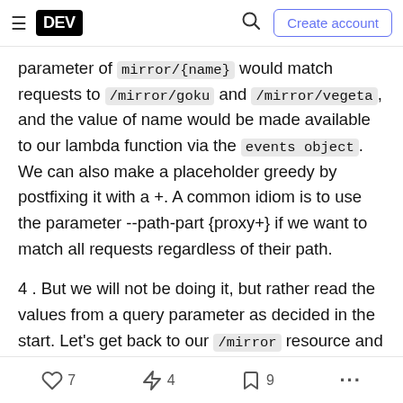DEV — navigation bar with hamburger menu, DEV logo, search icon, Create account button
parameter of mirror/{name} would match requests to /mirror/goku and /mirror/vegeta, and the value of name would be made available to our lambda function via the events object. We can also make a placeholder greedy by postfixing it with a +. A common idiom is to use the parameter --path-part {proxy+} if we want to match all requests regardless of their path.
4 . But we will not be doing it, but rather read the values from a query parameter as decided in the start. Let's get back to our /mirror resource and use the aws apigateway put-method command to register
♡ 7   ⚡ 4   🔖 9   ...